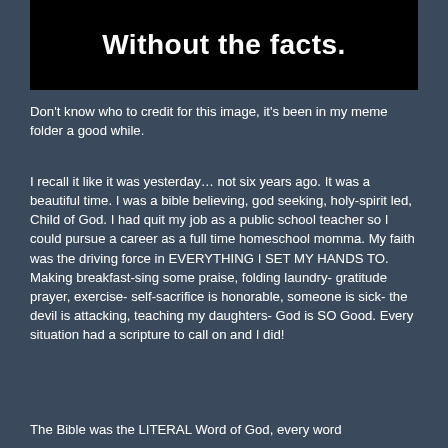[Figure (other): Black banner image with white bold text reading 'Without the facts.']
Don't know who to credit for this image, it's been in my meme folder a good while.
I recall it like it was yesterday… not six years ago. It was a beautiful time. I was a bible believing, god seeking, holy-spirit led,  Child of God. I had quit my job as a public school teacher so I could pursue a career as a full time homeschool momma. My faith was the driving force in EVERYTHING I SET MY HANDS TO. Making breakfast-sing some praise, folding laundry- gratitude prayer, exercise- self-sacrifice is honorable, someone is sick- the devil is attacking, teaching my daughters- God is SO Good. Every situation had a scripture to call on and I did!
The Bible was the LITERAL Word of God, every word